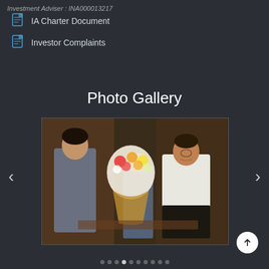Investment Adviser : INA000013217
IA Charter Document
Investor Complaints
Photo Gallery
[Figure (photo): Two men exchanging a bouquet of flowers at an indoor event. One man in a grey suit holds papers and receives the bouquet from another man in a white shirt. A third person in a blue shirt is visible in the background.]
Carousel navigation with left and right arrows and pagination dots